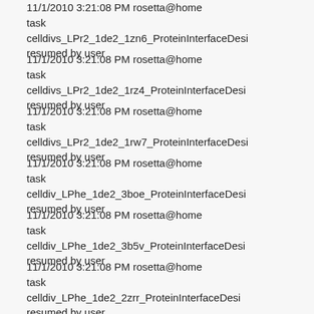11/1/2010 3:21:08 PM rosetta@home
task
celldivs_LPr2_1de2_1zn6_ProteinInterfaceDesi
resumed by user
11/1/2010 3:21:08 PM rosetta@home
task
celldivs_LPr2_1de2_1rz4_ProteinInterfaceDesi
resumed by user
11/1/2010 3:21:08 PM rosetta@home
task
celldivs_LPr2_1de2_1rw7_ProteinInterfaceDesi
resumed by user
11/1/2010 3:21:08 PM rosetta@home
task
celldiv_LPhe_1de2_3boe_ProteinInterfaceDesi
resumed by user
11/1/2010 3:21:08 PM rosetta@home
task
celldiv_LPhe_1de2_3b5v_ProteinInterfaceDesi
resumed by user
11/1/2010 3:21:08 PM rosetta@home
task
celldiv_LPhe_1de2_2zrr_ProteinInterfaceDesi
resumed by user